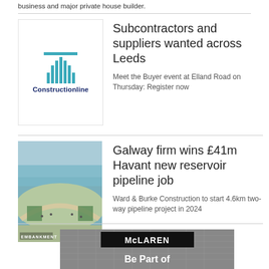business and major private house builder.
[Figure (logo): Constructionline logo with teal column graphic and dark blue text]
Subcontractors and suppliers wanted across Leeds
Meet the Buyer event at Elland Road on Thursday: Register now
[Figure (photo): Aerial view of Havant reservoir embankment with pathway and green areas, labeled EMBANKMENT]
Galway firm wins £41m Havant new reservoir pipeline job
Ward & Burke Construction to start 4.6km two-way pipeline project in 2024
[Figure (photo): McLaren advertisement showing building background with McLaren logo box and text Be Part of this]